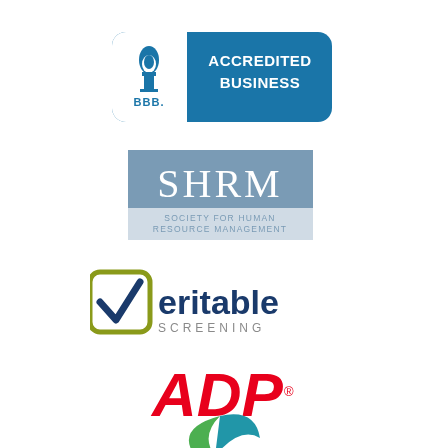[Figure (logo): BBB Accredited Business logo — blue rounded rectangle badge with white BBB torch flame icon on left and white text 'ACCREDITED BUSINESS' on right]
[Figure (logo): SHRM logo — grey/blue square with large white letters 'SHRM' and below 'SOCIETY FOR HUMAN RESOURCE MANAGEMENT']
[Figure (logo): Veritable Screening logo — olive/yellow-green rounded square checkbox with a dark blue checkmark V, followed by text 'eritable' in dark blue and 'SCREENING' in grey]
[Figure (logo): ADP logo — red stylized letters 'ADP' with registered trademark symbol]
[Figure (logo): Partial logo at bottom — green and blue swoosh/wing shapes, partially cut off]